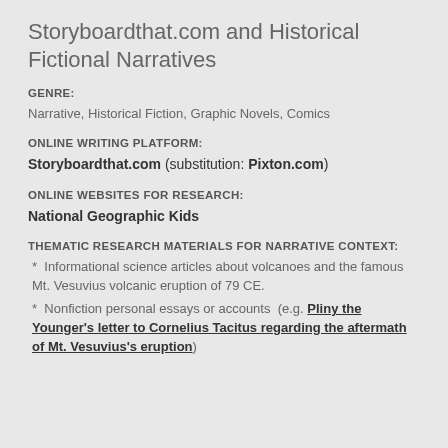Storyboardthat.com and Historical Fictional Narratives
GENRE:
Narrative, Historical Fiction, Graphic Novels, Comics
ONLINE WRITING PLATFORM:
Storyboardthat.com  (substitution: Pixton.com)
ONLINE WEBSITES FOR RESEARCH:
National Geographic Kids
THEMATIC RESEARCH MATERIALS FOR NARRATIVE CONTEXT:
*  Informational science articles about volcanoes and the famous Mt. Vesuvius volcanic eruption of 79 CE.
*  Nonfiction personal essays or accounts  (e.g. Pliny the Younger's letter to Cornelius Tacitus regarding the aftermath of Mt. Vesuvius's eruption)